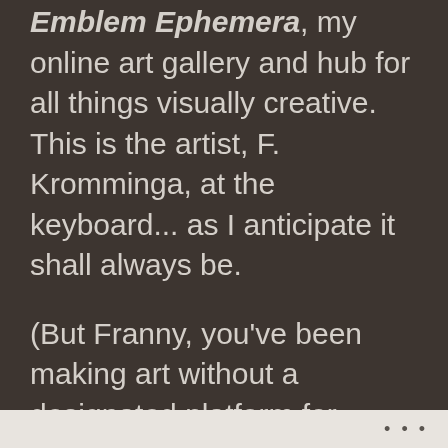Emblem Ephemera, my online art gallery and hub for all things visually creative. This is the artist, F. Kromminga, at the keyboard... as I anticipate it shall always be.
(But Franny, you've been making art without a designated platform for years. Why create a space now?)
Over a year ago (it is currently August 12, 2021), my primary means of creativity and employment (theatre) was upended, thanks to COVID-19. I suddenly had a lot
...